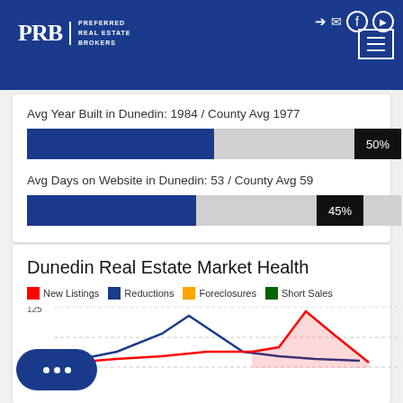[Figure (logo): PRB Preferred Real Estate Brokers logo with navigation icons and hamburger menu on dark blue header]
Avg Year Built in Dunedin: 1984 / County Avg 1977
[Figure (bar-chart): Avg Year Built bar]
Avg Days on Website in Dunedin: 53 / County Avg 59
[Figure (bar-chart): Avg Days on Website bar]
Dunedin Real Estate Market Health
[Figure (line-chart): Partial line chart visible showing red and blue lines with peaks]